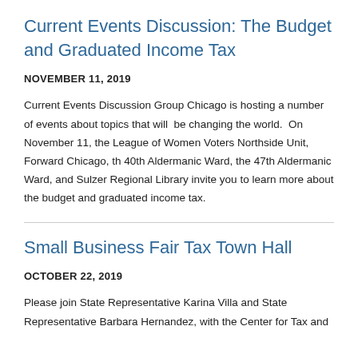Current Events Discussion: The Budget and Graduated Income Tax
NOVEMBER 11, 2019
Current Events Discussion Group Chicago is hosting a number of events about topics that will be changing the world. On November 11, the League of Women Voters Northside Unit, Forward Chicago, th 40th Aldermanic Ward, the 47th Aldermanic Ward, and Sulzer Regional Library invite you to learn more about the budget and graduated income tax.
Small Business Fair Tax Town Hall
OCTOBER 22, 2019
Please join State Representative Karina Villa and State Representative Barbara Hernandez, with the Center for Tax and